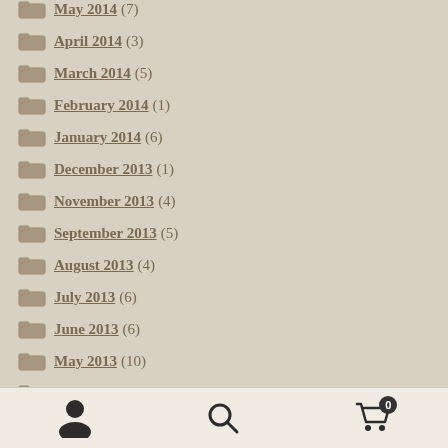May 2014 (7)
April 2014 (3)
March 2014 (5)
February 2014 (1)
January 2014 (6)
December 2013 (1)
November 2013 (4)
September 2013 (5)
August 2013 (4)
July 2013 (6)
June 2013 (6)
May 2013 (10)
April 2013 (10)
User icon, Search icon, Cart icon with badge 0